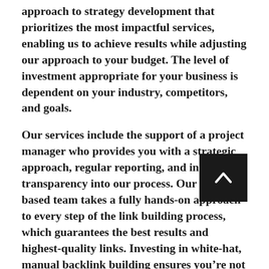approach to strategy development that prioritizes the most impactful services, enabling us to achieve results while adjusting our approach to your budget. The level of investment appropriate for your business is dependent on your industry, competitors, and goals.
Our services include the support of a project manager who provides you with a strategic approach, regular reporting, and in-depth transparency into our process. Our U.S.-based team takes a fully hands-on approach to every step of the link building process, which guarantees the best results and highest-quality links. Investing in white-hat, manual backlink building ensures you're not at risk of exposing your site to manipulative tactics used by budget SEO service providers
[Figure (other): Back to top button — black square with a white upward-pointing chevron arrow]
The quality of the results you achieve will reflect the quality of the link building agency you work with. We are